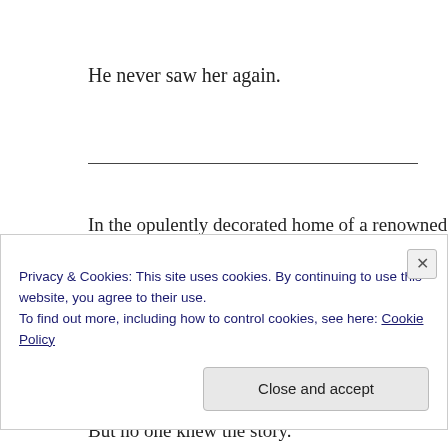He never saw her again.
In the opulently decorated home of a renowned globe-tro- hung a single life-sized photograph- a wide-eyed, bereft-lo- wide dancing in the snow in falling sunlight. People kne- Life and Hope, as he had told many.
But no one knew the story.
Privacy & Cookies: This site uses cookies. By continuing to use this website, you agree to their use.
To find out more, including how to control cookies, see here: Cookie Policy